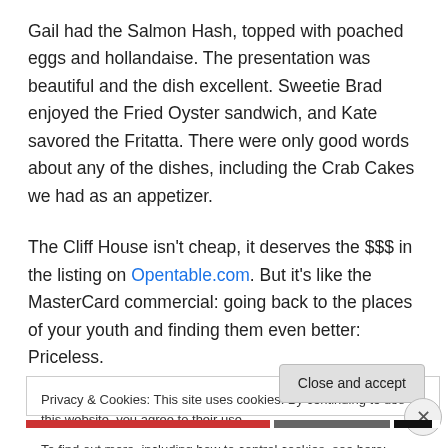Gail had the Salmon Hash, topped with poached eggs and hollandaise.  The presentation was beautiful and the dish excellent.  Sweetie Brad enjoyed the Fried Oyster sandwich, and Kate savored the Fritatta.  There were only good words about any of the dishes, including the Crab Cakes we had as an appetizer.
The Cliff House isn't cheap, it deserves the $$$ in the listing on Opentable.com.  But it's like the MasterCard commercial: going back to the places of your youth and finding them even better: Priceless.
Privacy & Cookies: This site uses cookies. By continuing to use this website, you agree to their use.
To find out more, including how to control cookies, see here: Cookie Policy